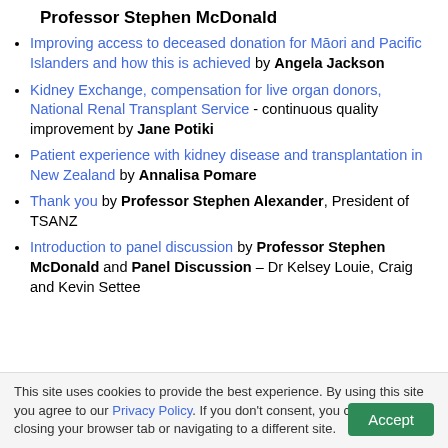Professor Stephen McDonald
Improving access to deceased donation for Māori and Pacific Islanders and how this is achieved by Angela Jackson
Kidney Exchange, compensation for live organ donors, National Renal Transplant Service - continuous quality improvement by Jane Potiki
Patient experience with kidney disease and transplantation in New Zealand by Annalisa Pomare
Thank you by Professor Stephen Alexander, President of TSANZ
Introduction to panel discussion by Professor Stephen McDonald and Panel Discussion – Dr Kelsey Louie, Craig and Kevin Settee
This site uses cookies to provide the best experience. By using this site you agree to our Privacy Policy. If you don't consent, you can opt-out by closing your browser tab or navigating to a different site.